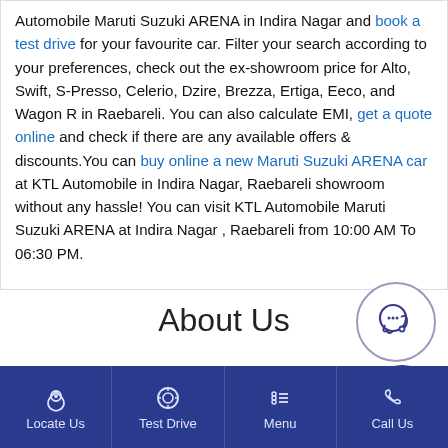Automobile Maruti Suzuki ARENA in Indira Nagar and book a test drive for your favourite car. Filter your search according to your preferences, check out the ex-showroom price for Alto, Swift, S-Presso, Celerio, Dzire, Brezza, Ertiga, Eeco, and Wagon R in Raebareli. You can also calculate EMI, get a quote online and check if there are any available offers & discounts.You can buy online a new Maruti Suzuki ARENA car at KTL Automobile in Indira Nagar, Raebareli showroom without any hassle! You can visit KTL Automobile Maruti Suzuki ARENA at Indira Nagar , Raebareli from 10:00 AM To 06:30 PM.
About Us
[Figure (illustration): Chat/headset icon inside a circular border]
Read More
[Figure (illustration): Notepad with pen icon inside a dark blue circle]
Locate Us | Test Drive | Menu | Call Us